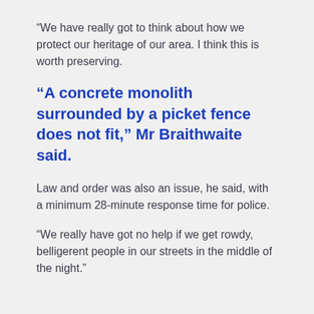“We have really got to think about how we protect our heritage of our area. I think this is worth preserving.
“A concrete monolith surrounded by a picket fence does not fit,” Mr Braithwaite said.
Law and order was also an issue, he said, with a minimum 28-minute response time for police.
“We really have got no help if we get rowdy, belligerent people in our streets in the middle of the night.”